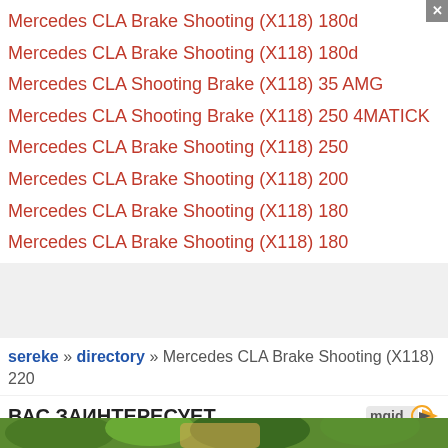Mercedes CLA Brake Shooting (X118) 180d
Mercedes CLA Brake Shooting (X118) 180d
Mercedes CLA Shooting Brake (X118) 35 AMG
Mercedes CLA Shooting Brake (X118) 250 4MATICK
Mercedes CLA Brake Shooting (X118) 250
Mercedes CLA Brake Shooting (X118) 200
Mercedes CLA Brake Shooting (X118) 180
Mercedes CLA Brake Shooting (X118) 180
sereke » directory » Mercedes CLA Brake Shooting (X118) 220
ВАС ЗАИНТЕРЕСУЕТ
[Figure (photo): Blonde woman outdoors with trees in background]